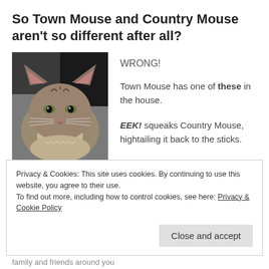So Town Mouse and Country Mouse aren't so different after all?
[Figure (photo): Close-up photo of a fluffy long-haired tabby cat with a serious expression, gray and brown fur, looking directly at the camera.]
WRONG!
Town Mouse has one of these in the house.
EEK! squeaks Country Mouse, hightailing it back to the sticks.
Privacy & Cookies: This site uses cookies. By continuing to use this website, you agree to their use.
To find out more, including how to control cookies, see here: Privacy & Cookie Policy
Close and accept
family and friends around you